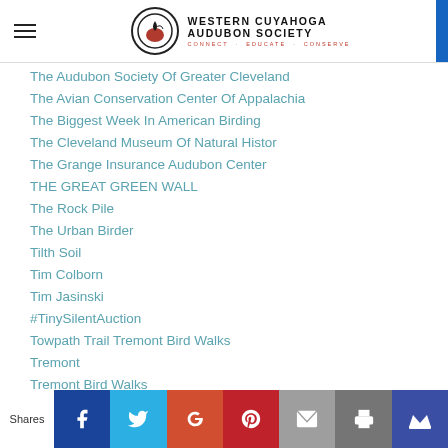Western Cuyahoga Audubon Society – CONNECT · EDUCATE · CONSERVE
The Audubon Society Of Greater Cleveland
The Avian Conservation Center Of Appalachia
The Biggest Week In American Birding
The Cleveland Museum Of Natural Histor
The Grange Insurance Audubon Center
THE GREAT GREEN WALL
The Rock Pile
The Urban Birder
Tilth Soil
Tim Colborn
Tim Jasinski
#TinySilentAuction
Towpath Trail Tremont Bird Walks
Tremont
Tremont Bird Walks
Shares | Facebook | Twitter | Google+ | Pinterest | Email | Print | Crown